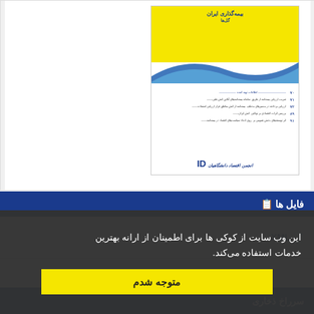[Figure (photo): Book cover preview showing a yellow and white Iranian publication cover with Farsi text, wave design, table of contents lines, and an ID logo at the bottom]
فایل ها
XML
این وب سایت از کوکی ها برای اطمینان از ارانه بهترین خدمات استفاده می‌کند.
متوجه شدم
سرراخ ذخاری